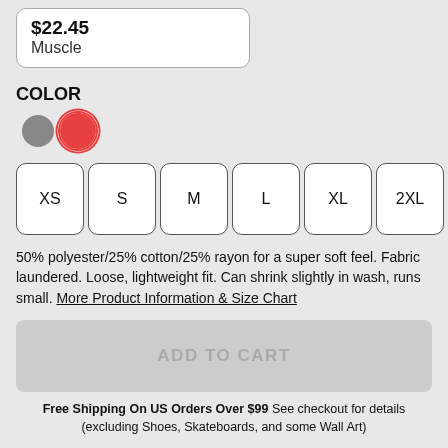$22.45
Muscle
COLOR
[Figure (infographic): Two color swatches: gray circle and red circle with red border selected]
XS  S  M  L  XL  2XL
50% polyester/25% cotton/25% rayon for a super soft feel. Fabric laundered. Loose, lightweight fit. Can shrink slightly in wash, runs small. More Product Information & Size Chart
ADD TO CART
Free Shipping On US Orders Over $99 See checkout for details (excluding Shoes, Skateboards, and some Wall Art)